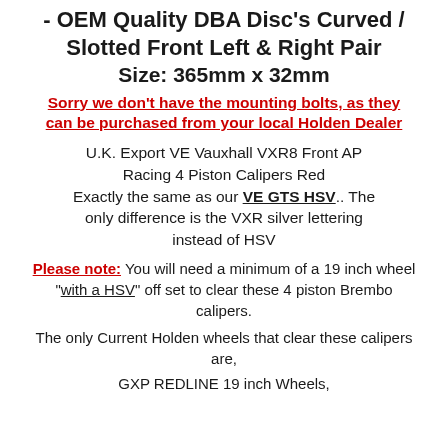- OEM Quality DBA Disc's Curved / Slotted Front Left & Right Pair
Size: 365mm x 32mm
Sorry we don't have the mounting bolts, as they can be purchased from your local Holden Dealer
U.K. Export VE Vauxhall VXR8 Front AP Racing 4 Piston Calipers Red
Exactly the same as our VE GTS HSV.. The only difference is the VXR silver lettering instead of HSV
Please note: You will need a minimum of a 19 inch wheel "with a HSV" off set to clear these 4 piston Brembo calipers.
The only Current Holden wheels that clear these calipers are,
GXP REDLINE 19 inch Wheels,